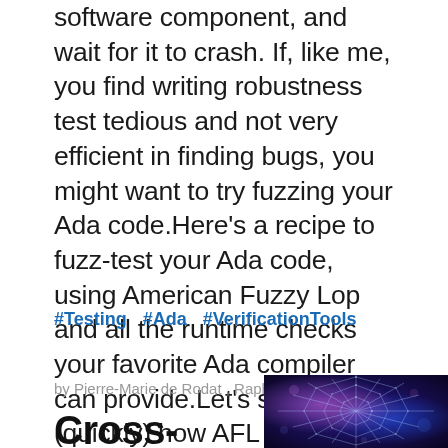software component, and wait for it to crash. If, like me, you find writing robustness test tedious and not very efficient in finding bugs, you might want to try fuzzing your Ada code.Here's a recipe to fuzz-test your Ada code, using American Fuzzy Lop and all the runtime checks your favorite Ada compiler can provide.Let's see (quickly) how AFL works, then jump right into fuzzing 3 open-source Ada libraries: ZipAda, AdaYaml, and GNATCOLL.JSON.
#Testing  #Ada  #VerificationTools
by Pierre-Marie de Rodat , Raphaël Amiard
Cross-referencing Ada with Libadalang
[Figure (photo): A glowing spider web against a dark blue and purple background with bokeh light effects]